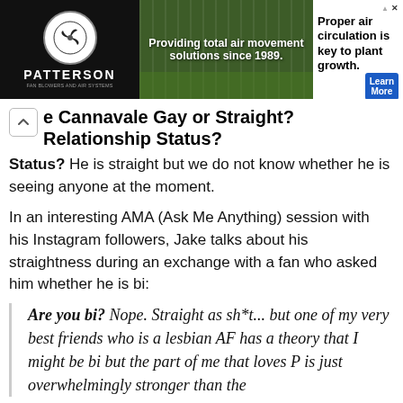[Figure (illustration): Patterson brand advertisement banner showing fan/air circulation equipment in a greenhouse. Text reads 'Providing total air movement solutions since 1989.' with 'Proper air circulation is key to plant growth.' and a 'Learn More' button.]
e Cannavale Gay or Straight? Relationship Status?
He is straight but we do not know whether he is seeing anyone at the moment.
In an interesting AMA (Ask Me Anything) session with his Instagram followers, Jake talks about his straightness during an exchange with a fan who asked him whether he is bi:
Are you bi? Nope. Straight as sh*t... but one of my very best friends who is a lesbian AF has a theory that I might be bi but the part of me that loves P is just overwhelmingly stronger than the